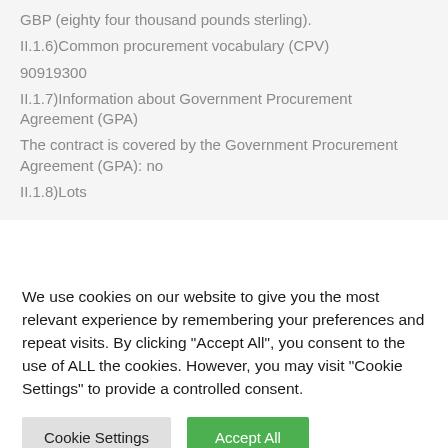GBP (eighty four thousand pounds sterling).
II.1.6)Common procurement vocabulary (CPV)
90919300
II.1.7)Information about Government Procurement Agreement (GPA)
The contract is covered by the Government Procurement Agreement (GPA): no
II.1.8)Lots
We use cookies on our website to give you the most relevant experience by remembering your preferences and repeat visits. By clicking "Accept All", you consent to the use of ALL the cookies. However, you may visit "Cookie Settings" to provide a controlled consent.